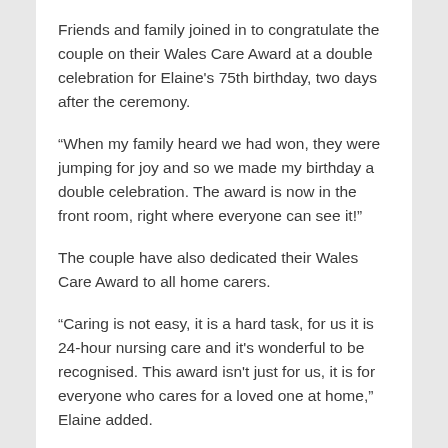Friends and family joined in to congratulate the couple on their Wales Care Award at a double celebration for Elaine's 75th birthday, two days after the ceremony.
“When my family heard we had won, they were jumping for joy and so we made my birthday a double celebration. The award is now in the front room, right where everyone can see it!”
The couple have also dedicated their Wales Care Award to all home carers.
“Caring is not easy, it is a hard task, for us it is 24-hour nursing care and it’s wonderful to be recognised. This award isn’t just for us, it is for everyone who cares for a loved one at home,” Elaine added.